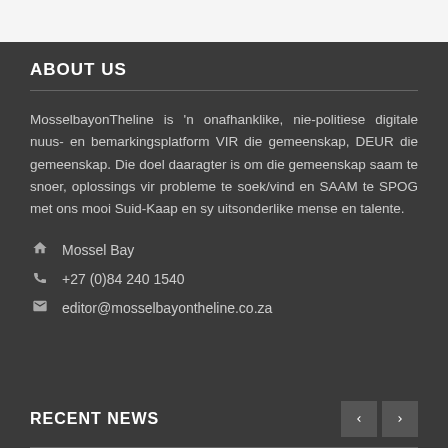ABOUT US
MosselbayonTheline is 'n onafhanklike, nie-politiese digitale nuus- en bemarkingsplatform VIR die gemeenskap, DEUR die gemeenskap. Die doel daaragter is om die gemeenskap saam te snoer, oplossings vir probleme te soek/vind en SAAM te SPOG met ons mooi Suid-Kaap en sy uitsonderlike mense en talente.
Mossel Bay
+27 (0)84 240 1540
editor@mosselbayontheline.co.za
RECENT NEWS